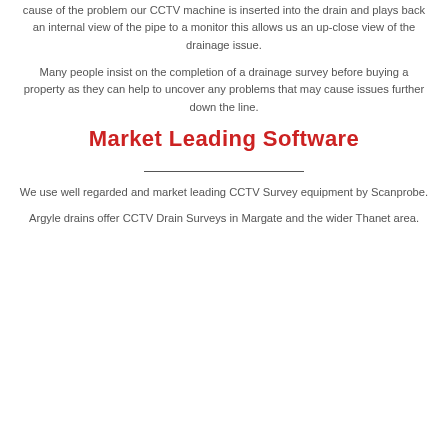cause of the problem our CCTV machine is inserted into the drain and plays back an internal view of the pipe to a monitor this allows us an up-close view of the drainage issue.
Many people insist on the completion of a drainage survey before buying a property as they can help to uncover any problems that may cause issues further down the line.
Market Leading Software
We use well regarded and market leading CCTV Survey equipment by Scanprobe.
Argyle drains offer CCTV Drain Surveys in Margate and the wider Thanet area.